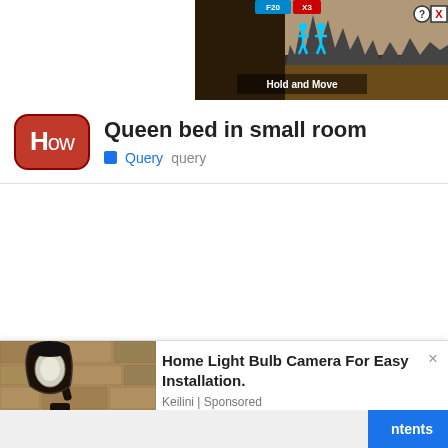[Figure (screenshot): Advertisement banner showing a game or app with 'Hold and Move' text, score boxes showing F20 and X3, two person icons in cyan color, a landscape with trees in background, help and close icons in top right]
Queen bed in small room
Query  query
[Figure (screenshot): Advertisement card for 'Home Light Bulb Camera For Easy Installation.' by Keilini (Sponsored), showing a wall-mounted outdoor lamp with a security camera attached to it on a stone/stucco wall background]
Home Light Bulb Camera For Easy Installation.
Keilini | Sponsored
ntents